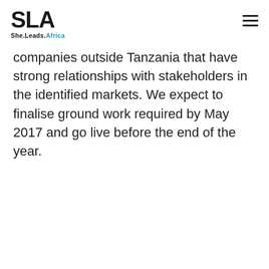SLA She.Leads.Africa
companies outside Tanzania that have strong relationships with stakeholders in the identified markets. We expect to finalise ground work required by May 2017 and go live before the end of the year.